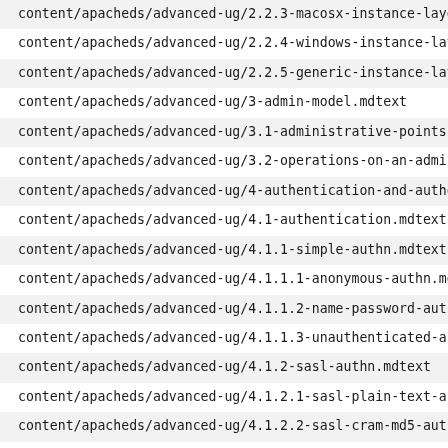content/apacheds/advanced-ug/2.2.3-macosx-instance-layout.mdtext
content/apacheds/advanced-ug/2.2.4-windows-instance-layout.mdtext
content/apacheds/advanced-ug/2.2.5-generic-instance-layout.mdtext
content/apacheds/advanced-ug/3-admin-model.mdtext
content/apacheds/advanced-ug/3.1-administrative-points.mdtext
content/apacheds/advanced-ug/3.2-operations-on-an-administrative-point.mdtext
content/apacheds/advanced-ug/4-authentication-and-authorization.mdtext
content/apacheds/advanced-ug/4.1-authentication.mdtext
content/apacheds/advanced-ug/4.1.1-simple-authn.mdtext
content/apacheds/advanced-ug/4.1.1.1-anonymous-authn.mdtext
content/apacheds/advanced-ug/4.1.1.2-name-password-authn.mdtext
content/apacheds/advanced-ug/4.1.1.3-unauthenticated-authn.mdtext
content/apacheds/advanced-ug/4.1.2-sasl-authn.mdtext
content/apacheds/advanced-ug/4.1.2.1-sasl-plain-text-authn.mdtext
content/apacheds/advanced-ug/4.1.2.2-sasl-cram-md5-authn.mdtext
content/apacheds/advanced-ug/4.1.2.3-sasl-digest-md5-authn.mdtext
content/apacheds/advanced-ug/4.1.2.4-sasl-gssapi-authn.mdtext